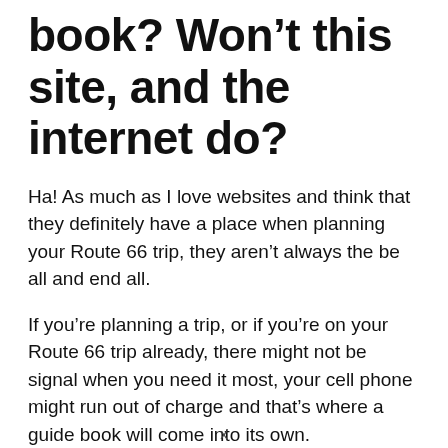book? Won't this site, and the internet do?
Ha! As much as I love websites and think that they definitely have a place when planning your Route 66 trip, they aren't always the be all and end all.
If you're planning a trip, or if you're on your Route 66 trip already, there might not be signal when you need it most, your cell phone might run out of charge and that's where a guide book will come into its own.
A guide book also doesn't have ads that can
x